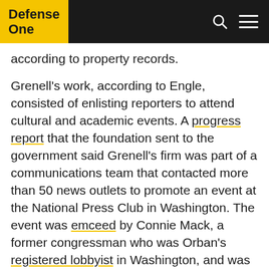Defense One
according to property records.
Grenell's work, according to Engle, consisted of enlisting reporters to attend cultural and academic events. A progress report that the foundation sent to the government said Grenell's firm was part of a communications team that contacted more than 50 news outlets to promote an event at the National Press Club in Washington. The event was emceed by Connie Mack, a former congressman who was Orban's registered lobbyist in Washington, and was attended by several lawmakers and government officials.
Undisclosed foreign lobbying and past foreign business dealings can create security concerns for